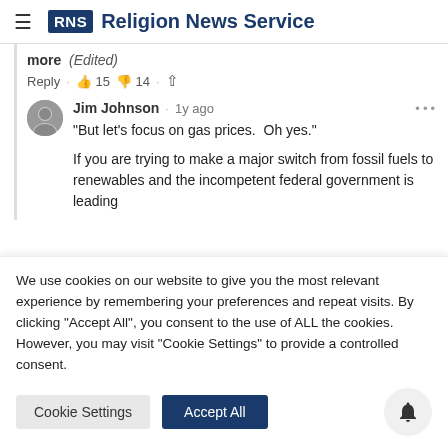RNS Religion News Service
more (Edited)
Reply · 👍 15 👎 14 · share
Jim Johnson · 1y ago
"But let's focus on gas prices.  Oh yes."

If you are trying to make a major switch from fossil fuels to renewables and the incompetent federal government is leading
We use cookies on our website to give you the most relevant experience by remembering your preferences and repeat visits. By clicking "Accept All", you consent to the use of ALL the cookies. However, you may visit "Cookie Settings" to provide a controlled consent.